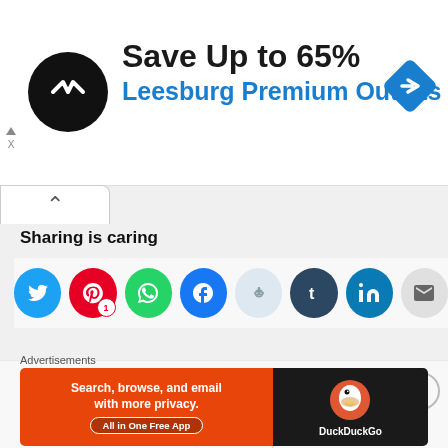[Figure (screenshot): Advertisement banner: Save Up to 65% Leesburg Premium Outlets with logo and navigation icon]
Sharing is caring
[Figure (infographic): Social sharing icons: Twitter, Pinterest (with badge 1), WhatsApp, Facebook, Reddit, Tumblr, LinkedIn, Email]
Like this:
Loading...
Advertisements
[Figure (screenshot): DuckDuckGo advertisement: Search, browse, and email with more privacy. All in One Free App]